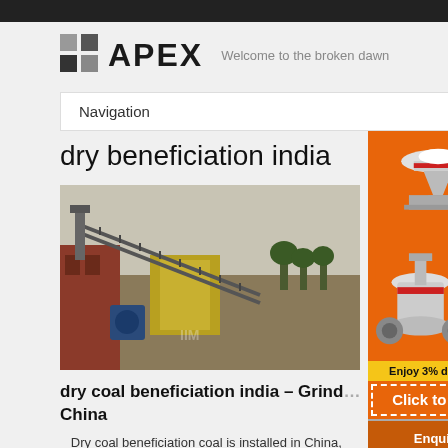APEX — Welcome to the broken dawn
Navigation
dry beneficiation india
[Figure (photo): Industrial coal beneficiation plant with conveyor belts, machinery, and yellow hopper containers outdoors]
dry coal beneficiation india – Grind… China
Dry coal beneficiation coal is installed in China, India. Dry coal ore beneficiation process plant dry India
[Figure (illustration): Advertisement showing orange background with mining/crushing machinery equipment images, Enjoy 3% discount, Click to Chat button, Enquiry link, and limingjlmofen@sina.com email]